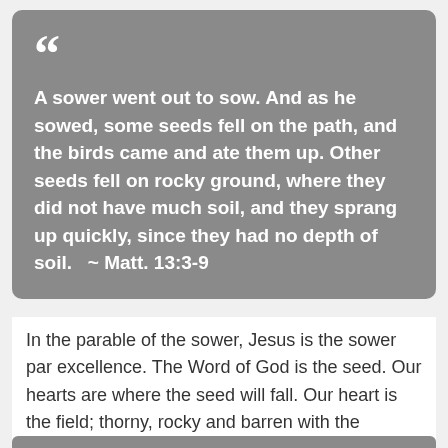A sower went out to sow.  And as he sowed, some seeds fell on the path, and the birds came and ate them up.  Other seeds fell on rocky ground, where they did not have much soil, and they sprang up quickly, since they had no depth of soil.   ~ Matt. 13:3-9
In the parable of the sower, Jesus is the sower par excellence.  The Word of God is the seed.  Our hearts are where the seed will fall.  Our heart is the field; thorny, rocky and barren with the consequences of sin, hopefully eager for the fruit of new life.